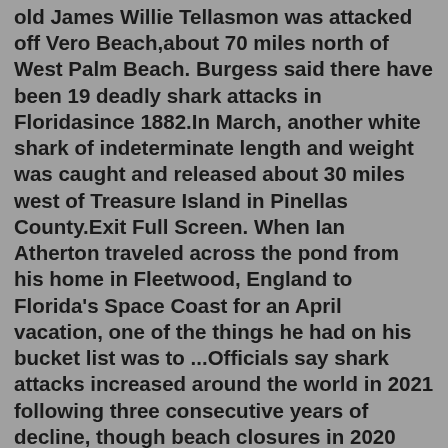old James Willie Tellasmon was attacked off Vero Beach,about 70 miles north of West Palm Beach. Burgess said there have been 19 deadly shark attacks in Floridasince 1882.In March, another white shark of indeterminate length and weight was caught and released about 30 miles west of Treasure Island in Pinellas County.Exit Full Screen. When Ian Atherton traveled across the pond from his home in Fleetwood, England to Florida's Space Coast for an April vacation, one of the things he had on his bucket list was to ...Officials say shark attacks increased around the world in 2021 following three consecutive years of decline, though beach closures in 2020 caused by the COVID-19 pandemic could be making the ...when was the last shark attack in clearwater, florida. when was the last shark attack in clearwater, florida julio 1, 2022. slugburger vs dough burger pentaho business analytics ...Tampa Bay Margarita & Music Festival 2022. ... 8631 Old County Road 54, New Port Richey, FL 34653. Attending Interested. Luxury and Exotic